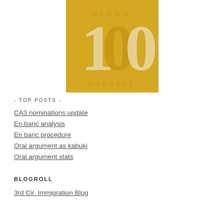[Figure (logo): ABA Journal Blawg 100 Honoree badge — golden/yellow square with large stylized '100' and text 'BLAWG' at top and 'HONOREE' at bottom]
- TOP POSTS -
CA3 nominations update
En banc analysis
En banc procedure
Oral argument as kabuki
Oral argument stats
BLOGROLL
3rd Cir. Immigration Blog